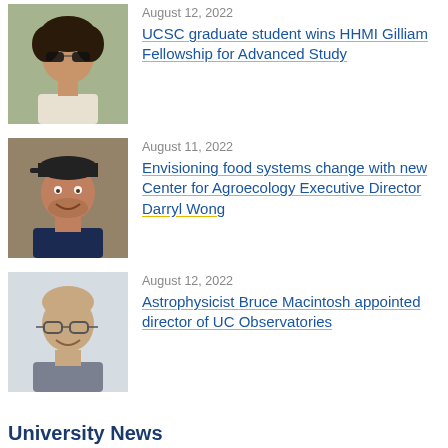[Figure (photo): Headshot of a woman with dark curly hair and sunglasses, outdoors]
August 12, 2022
UCSC graduate student wins HHMI Gilliam Fellowship for Advanced Study
[Figure (photo): Headshot of a man in a baseball cap, smiling, wearing a navy shirt]
August 11, 2022
Envisioning food systems change with new Center for Agroecology Executive Director Darryl Wong
[Figure (photo): Headshot of a bald man with glasses, smiling, wearing a grey shirt]
August 12, 2022
Astrophysicist Bruce Macintosh appointed director of UC Observatories
University News
University News Home